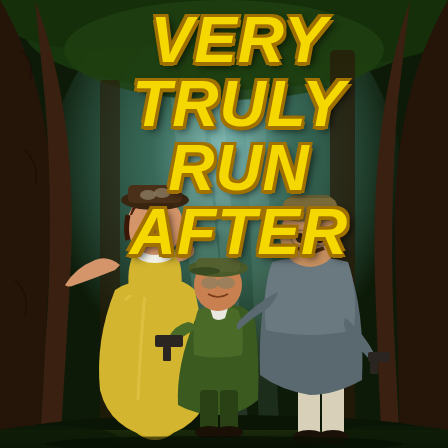[Figure (illustration): Book cover illustration showing three characters in a dark forest setting. On the left, a woman in a long yellow/gold Victorian dress and a hat with goggles, smiling and gesturing. In the center, a young boy in a green suit and flat cap holding a pistol. On the right, a tall man in a gray coat, white pants, and a bowler hat with a mustache, holding a revolver. Large dark tree trunks frame the sides, with pale blue-green light filtering through in the background.]
Very Truly Run After